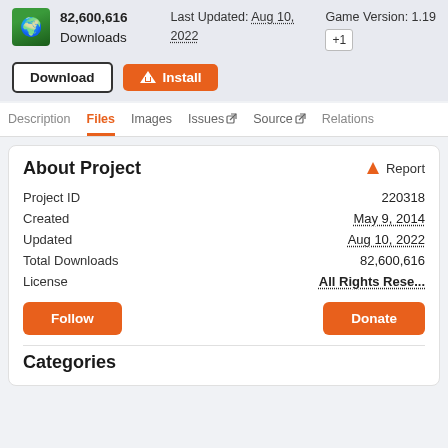82,600,616 Downloads
Last Updated: Aug 10, 2022
Game Version: 1.19 +1
Download | Install
Description | Files | Images | Issues | Source | Relations
About Project
| Field | Value |
| --- | --- |
| Project ID | 220318 |
| Created | May 9, 2014 |
| Updated | Aug 10, 2022 |
| Total Downloads | 82,600,616 |
| License | All Rights Rese... |
Follow | Donate
Categories